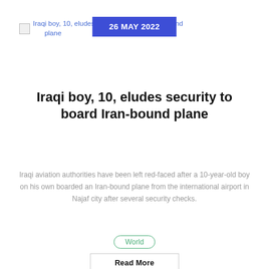Iraqi boy, 10, eludes security to board Iran-bound plane | 26 MAY 2022
Iraqi boy, 10, eludes security to board Iran-bound plane
Iraqi aviation authorities have been left red-faced after a 10-year-old boy on his own boarded an Iran-bound plane from the international airport in Najaf city after several security checks.
World
Read More
7- Day Rwanda Gorilla Trekking safari with Devine African Safaris